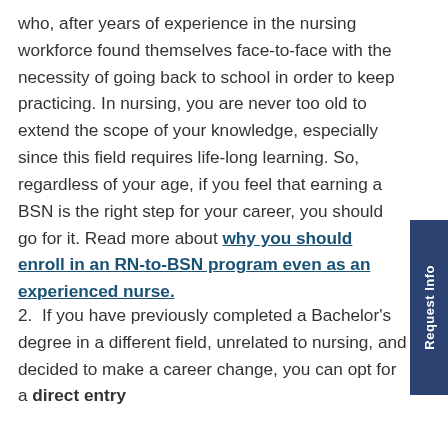who, after years of experience in the nursing workforce found themselves face-to-face with the necessity of going back to school in order to keep practicing. In nursing, you are never too old to extend the scope of your knowledge, especially since this field requires life-long learning. So, regardless of your age, if you feel that earning a BSN is the right step for your career, you should go for it. Read more about why you should enroll in an RN-to-BSN program even as an experienced nurse.
2. If you have previously completed a Bachelor's degree in a different field, unrelated to nursing, and decided to make a career change, you can opt for a direct entry